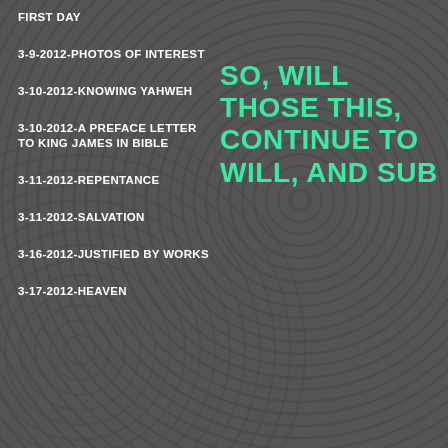FIRST DAY
3-9-2012-PHOTOS OF INTEREST
3-10-2012-KNOWING YAHWEH
3-10-2012-A PREFACE LETTER TO KING JAMES IN BIBLE
3-11-2012-REPENTANCE
3-11-2012-SALVATION
3-16-2012-JUSTIFIED BY WORKS
3-17-2012-HEAVEN
SO, WILL THOSE THIS, CONTINUE TO WILL, AND SUB